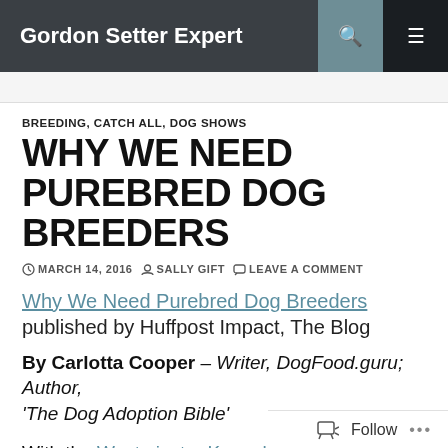Gordon Setter Expert
BREEDING, CATCH ALL, DOG SHOWS
WHY WE NEED PUREBRED DOG BREEDERS
MARCH 14, 2016   SALLY GIFT   LEAVE A COMMENT
Why We Need Purebred Dog Breeders published by Huffpost Impact, The Blog
By Carlotta Cooper – Writer, DogFood.guru; Author, 'The Dog Adoption Bible'
With the Westminster Kennel Club dog show recently on